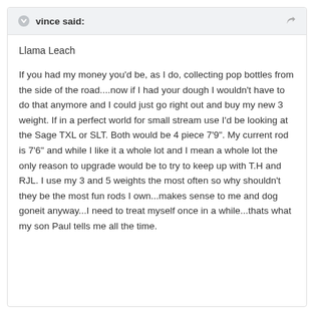vince said:
Llama Leach
If you had my money you'd be, as I do, collecting pop bottles from the side of the road....now if I had your dough I wouldn't have to do that anymore and I could just go right out and buy my new 3 weight. If in a perfect world for small stream use I'd be looking at the Sage TXL or SLT. Both would be 4 piece 7'9". My current rod is 7'6" and while I like it a whole lot and I mean a whole lot the only reason to upgrade would be to try to keep up with T.H and RJL. I use my 3 and 5 weights the most often so why shouldn't they be the most fun rods I own...makes sense to me and dog goneit anyway...I need to treat myself once in a while...thats what my son Paul tells me all the time.